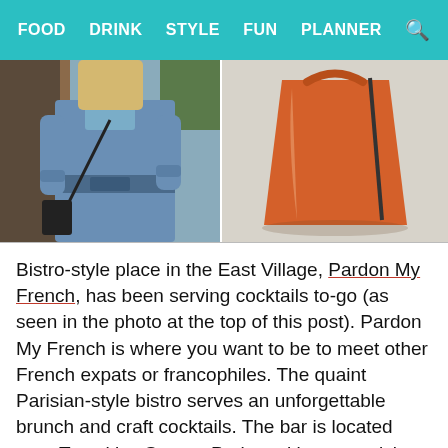FOOD   DRINK   STYLE   FUN   PLANNER   🔍
[Figure (photo): Two photos side by side: left shows a person wearing a denim outfit with a belt in front of a door; right shows an orange bucket/cup against a light background.]
Bistro-style place in the East Village, Pardon My French, has been serving cocktails to-go (as seen in the photo at the top of this post). Pardon My French is where you want to be to meet other French expats or francophiles. The quaint Parisian-style bistro serves an unforgettable brunch and craft cocktails. The bar is located near Tompkins Square Park, making your visit to this bar a no-brainer. The best part is their fun, upbeat music. Visiting here makes you forget you're in New York City. Their cocktails are wonderfully balanced and sophisticated.